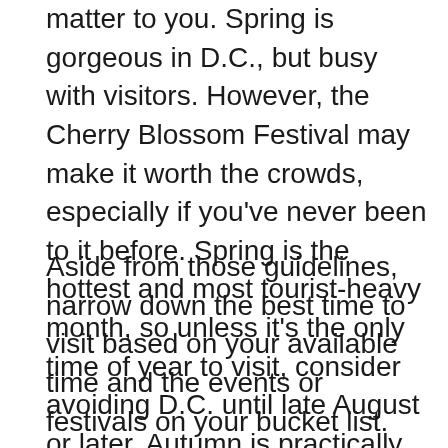matter to you. Spring is gorgeous in D.C., but busy with visitors. However, the Cherry Blossom Festival may make it worth the crowds, especially if you've never been to it before. Spring is the hottest and most tourist-heavy month, so unless it's the only time of year to visit, consider avoiding D.C. until late August or later. Autumn is practically perfect, and there's still plenty to do outside.
Aside from those guidelines, narrow down the best time to visit based on your available time and the events or festivals on your bucket list. Since D.C. has plenty to do year-round and experiences all four seasons without too many extreme temperatures, there's no bad time to book your trip.